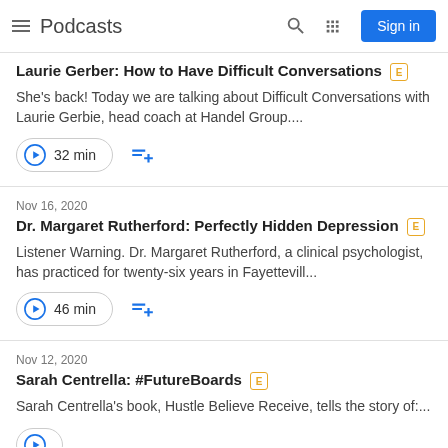Podcasts — Sign in
Laurie Gerber: How to Have Difficult Conversations [E]
She's back! Today we are talking about Difficult Conversations with Laurie Gerbie, head coach at Handel Group....
32 min
Nov 16, 2020
Dr. Margaret Rutherford: Perfectly Hidden Depression [E]
Listener Warning. Dr. Margaret Rutherford, a clinical psychologist, has practiced for twenty-six years in Fayettevill...
46 min
Nov 12, 2020
Sarah Centrella: #FutureBoards [E]
Sarah Centrella's book, Hustle Believe Receive, tells the story of:...